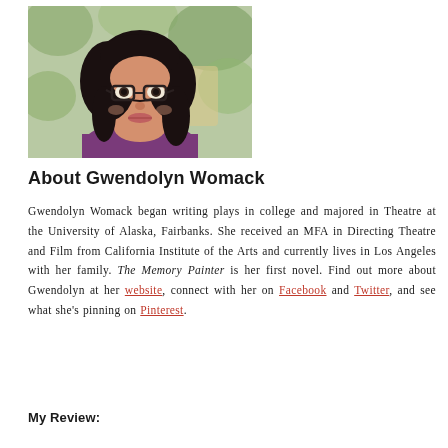[Figure (photo): Headshot photo of Gwendolyn Womack, a woman with dark curly hair and glasses wearing a purple top, photographed outdoors with a blurred green background.]
About Gwendolyn Womack
Gwendolyn Womack began writing plays in college and majored in Theatre at the University of Alaska, Fairbanks. She received an MFA in Directing Theatre and Film from California Institute of the Arts and currently lives in Los Angeles with her family. The Memory Painter is her first novel. Find out more about Gwendolyn at her website, connect with her on Facebook and Twitter, and see what she's pinning on Pinterest.
My Review: